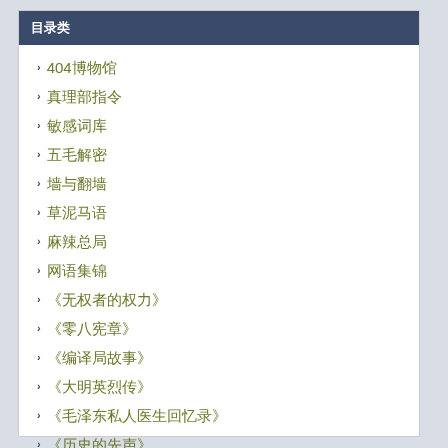目录类
404博物馆
真理部指令
敏感词库
五毛解密
墙与翻墙
草泥马语
麻辣总局
网语集锦
《无权者的权力》
《零八宪章》
《编译局故事》
《大明英烈传》
《毛泽东私人医生回忆录》
《历史的先声》